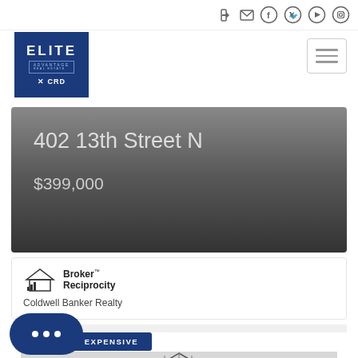Navigation icons: login, email, facebook, twitter, youtube, instagram
[Figure (logo): Elite Advantage Real Estate logo — blue square with white ELITE text and XCAD branding]
[Figure (other): Hamburger menu button with three horizontal lines]
402 13th Street N
$399,000
[Figure (logo): Broker Reciprocity logo — small house icon with antenna bars and Broker Reciprocity text]
Coldwell Banker Realty
LEAST EXPENSIVE
[Figure (photo): Partial view of a house exterior showing roof with decorative gable]
[Figure (other): Chat bubble button with three dots]